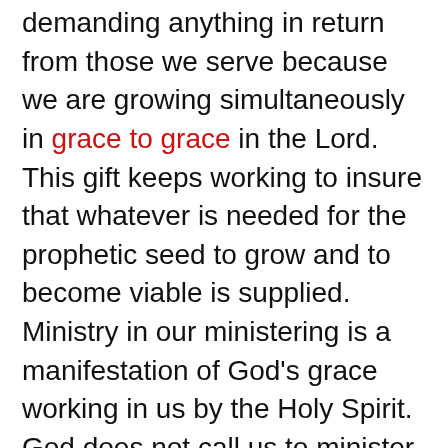demanding anything in return from those we serve because we are growing simultaneously in grace to grace in the Lord. This gift keeps working to insure that whatever is needed for the prophetic seed to grow and to become viable is supplied. Ministry in our ministering is a manifestation of God's grace working in us by the Holy Spirit. God does not call us to minister to seeds that are not of Him.
teacheth; in teaching:
This grace gift works in a similar way to the ministering gift. A teacher must be taught from another teacher. Every person has the grace gift to be one who teaches. In its most simplified form it is done by example. A child is taught by a parent